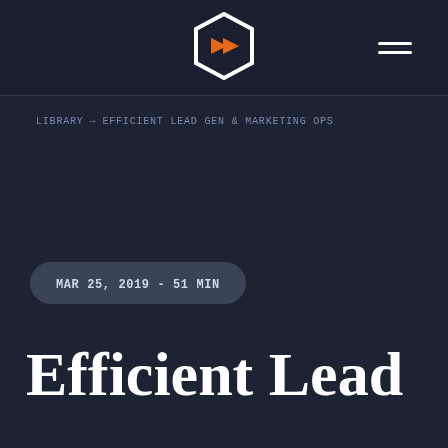[Figure (logo): Hexagon logo with orange arrow/chevron inside, white outline]
LIBRARY → EFFICIENT LEAD GEN & MARKETING OPS
MAR 25, 2019 - 51 MIN
Efficient Lead Gen & Marketing...